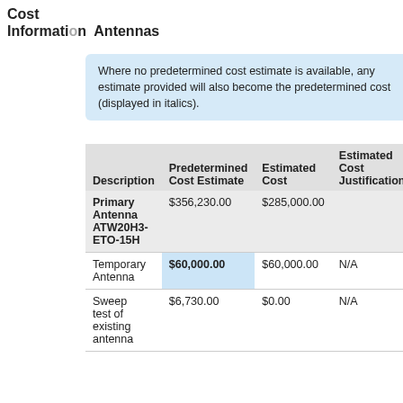Cost Information Antennas
Where no predetermined cost estimate is available, any estimate provided will also become the predetermined cost (displayed in italics).
| Description | Predetermined Cost Estimate | Estimated Cost | Estimated Cost Justification |
| --- | --- | --- | --- |
| Primary Antenna ATW20H3-ETO-15H | $356,230.00 | $285,000.00 |  |
| Temporary Antenna | $60,000.00 | $60,000.00 | N/A |
| Sweep test of existing antenna | $6,730.00 | $0.00 | N/A |